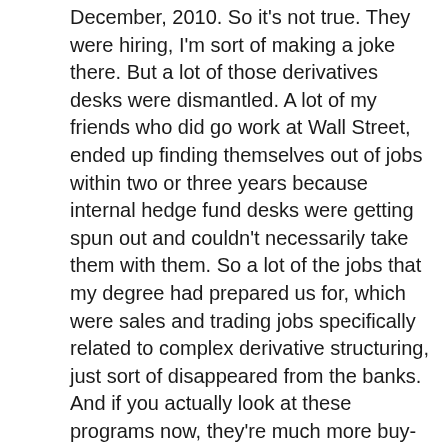December, 2010. So it's not true. They were hiring, I'm sort of making a joke there. But a lot of those derivatives desks were dismantled. A lot of my friends who did go work at Wall Street, ended up finding themselves out of jobs within two or three years because internal hedge fund desks were getting spun out and couldn't necessarily take them with them. So a lot of the jobs that my degree had prepared us for, which were sales and trading jobs specifically related to complex derivative structuring, just sort of disappeared from the banks. And if you actually look at these programs now, they're much more buy-side focused. There's a lot more machine learning and portfolio construction and factor analysis. I think a lot more people would end up working at something like an AQR than they would a JP Morgan or Deutsche Bank.